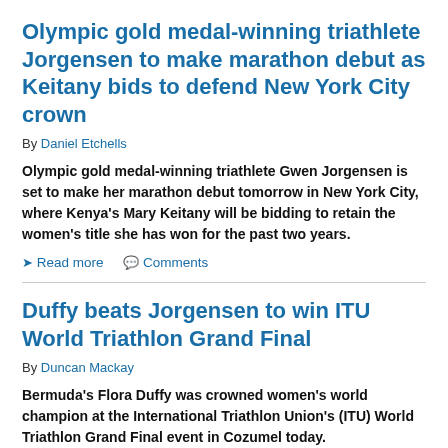Olympic gold medal-winning triathlete Jorgensen to make marathon debut as Keitany bids to defend New York City crown
By Daniel Etchells
Olympic gold medal-winning triathlete Gwen Jorgensen is set to make her marathon debut tomorrow in New York City, where Kenya's Mary Keitany will be bidding to retain the women's title she has won for the past two years.
➤ Read more   💬 Comments
Duffy beats Jorgensen to win ITU World Triathlon Grand Final
By Duncan Mackay
Bermuda's Flora Duffy was crowned women's world champion at the International Triathlon Union's (ITU) World Triathlon Grand Final event in Cozumel today.